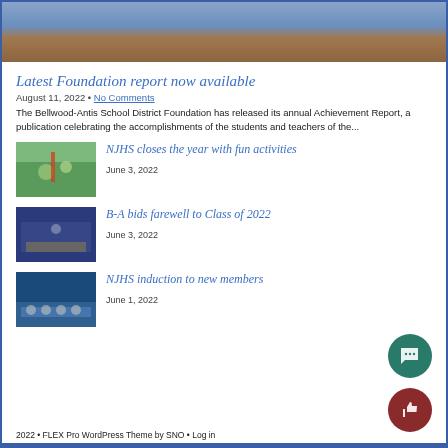[Figure (photo): Top portion of a photo showing people outdoors, cropped at top]
Latest Foundation report now available
August 11, 2022 • No Comments
The Bellwood-Antis School District Foundation has released its annual Achievement Report, a publication celebrating the accomplishments of the students and teachers of the...
[Figure (photo): Thumbnail photo for NJHS closes the year with fun activities article]
NJHS closes the year with fun activities
June 3, 2022
[Figure (photo): Thumbnail photo for B-A bids farewell to Class of 2022 article]
B-A bids farewell to Class of 2022
June 3, 2022
[Figure (photo): Thumbnail photo for NJHS induction to new members article]
NJHS induction to new members
June 1, 2022
2022 • FLEX Pro WordPress Theme by SNO • Log in